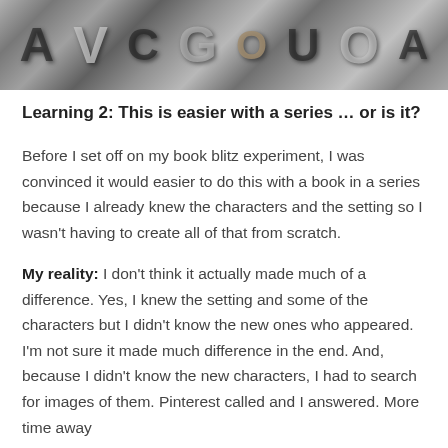[Figure (photo): Black and white photograph of vintage letterpress type blocks with various letters including A, V, C, G, O, U, A and others in different sizes and styles]
Learning 2: This is easier with a series … or is it?
Before I set off on my book blitz experiment, I was convinced it would easier to do this with a book in a series because I already knew the characters and the setting so I wasn't having to create all of that from scratch.
My reality: I don't think it actually made much of a difference. Yes, I knew the setting and some of the characters but I didn't know the new ones who appeared. I'm not sure it made much difference in the end. And, because I didn't know the new characters, I had to search for images of them. Pinterest called and I answered. More time away